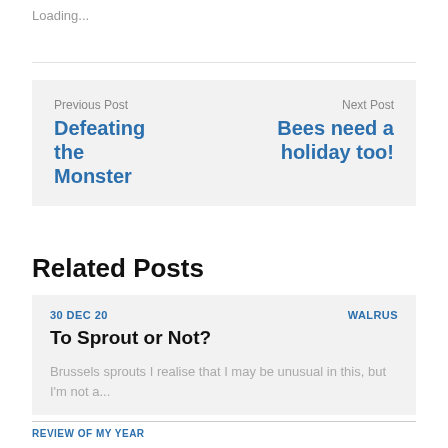Loading...
Previous Post
Defeating the Monster

Next Post
Bees need a holiday too!
Related Posts
30 DEC 20
WALRUS
To Sprout or Not?
Brussels sprouts I realise that I may be unusual in this, but I'm not a...
REVIEW OF MY YEAR